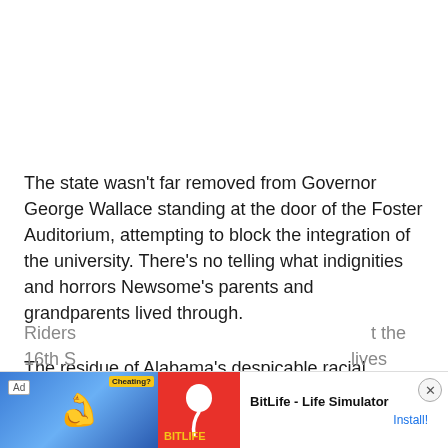The state wasn't far removed from Governor George Wallace standing at the door of the Foster Auditorium, attempting to block the integration of the university. There's no telling what indignities and horrors Newsome's parents and grandparents lived through.
The residue of Alabama's despicable racial hatred, ignorance and terrorism – the Montgomery Bus Boycott, the Freedom Riders ... t the 16th S... lives
[Figure (screenshot): Mobile advertisement banner for BitLife - Life Simulator game, showing an Ad label, a blue background panel with a flexing arm graphic and 'Cheating?' text, a red panel with BitLife sperm logo, the text 'BitLife - Life Simulator', an Install! button, and a close (X) button.]